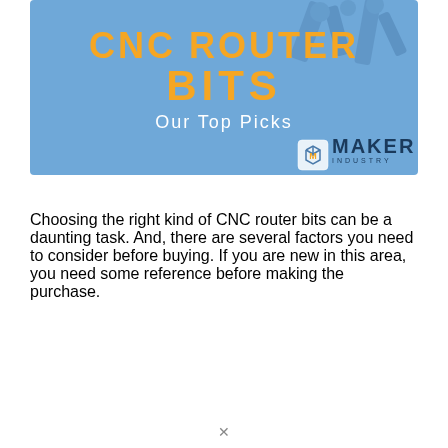[Figure (illustration): Blue banner image for CNC Router Bits with text 'CNC ROUTER BITS Our Top Picks' and Maker Industry logo in bottom right]
Choosing the right kind of CNC router bits can be a daunting task. And, there are several factors you need to consider before buying. If you are new in this area, you need some reference before making the purchase.